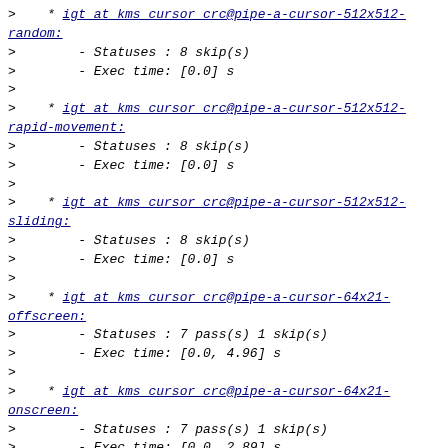>    * igt at kms cursor crc@pipe-a-cursor-512x512-random:
>        - Statuses : 8 skip(s)
>        - Exec time: [0.0] s
>
>    * igt at kms cursor crc@pipe-a-cursor-512x512-rapid-movement:
>        - Statuses : 8 skip(s)
>        - Exec time: [0.0] s
>
>    * igt at kms cursor crc@pipe-a-cursor-512x512-sliding:
>        - Statuses : 8 skip(s)
>        - Exec time: [0.0] s
>
>    * igt at kms cursor crc@pipe-a-cursor-64x21-offscreen:
>        - Statuses : 7 pass(s) 1 skip(s)
>        - Exec time: [0.0, 4.96] s
>
>    * igt at kms cursor crc@pipe-a-cursor-64x21-onscreen:
>        - Statuses : 7 pass(s) 1 skip(s)
>        - Exec time: [0.0, 2.89] s
>
>    * igt at kms cursor crc@pipe-a-cursor-64x21-random:
>        - Statuses : 1 fail(s) 6 pass(s) 1 skip(s)
>        - Exec time: [0.0, 4.45] s
>
>    * igt at kms cursor crc@pipe-a-cursor-64x21-